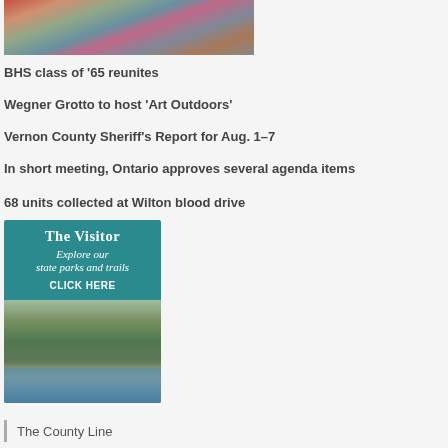[Figure (photo): Group photo of people standing together, partial view showing top portion]
BHS class of ‘65 reunites
Wegner Grotto to host ‘Art Outdoors’
Vernon County Sheriff’s Report for Aug. 1–7
In short meeting, Ontario approves several agenda items
68 units collected at Wilton blood drive
[Figure (illustration): Advertisement for The Visitor - Explore our state parks and trails - CLICK HERE, with photo of kayakers on water near rock cliff]
The County Line